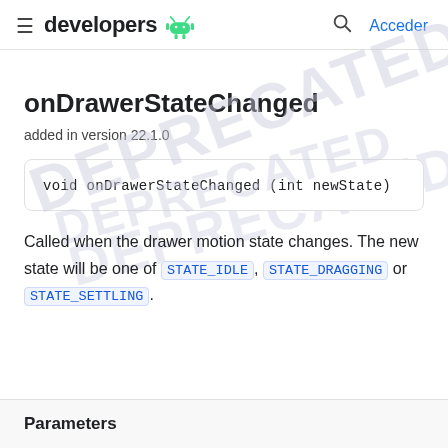developers | Acceder
onDrawerStateChanged
added in version 22.1.0
void onDrawerStateChanged (int newState)
Called when the drawer motion state changes. The new state will be one of STATE_IDLE, STATE_DRAGGING or STATE_SETTLING.
Parameters